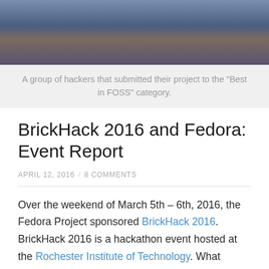[Figure (photo): A group of people (hackers) standing together, wearing blue and red clothing, at a hackathon event.]
A group of hackers that submitted their project to the "Best in FOSS" category.
BrickHack 2016 and Fedora: Event Report
APRIL 12, 2016  /  8 COMMENTS
Over the weekend of March 5th – 6th, 2016, the Fedora Project sponsored BrickHack 2016. BrickHack 2016 is a hackathon event hosted at the Rochester Institute of Technology. What exactly is BrickHack? The organizers describe it as the following:
March 5-6 ignites a weekend devoted to